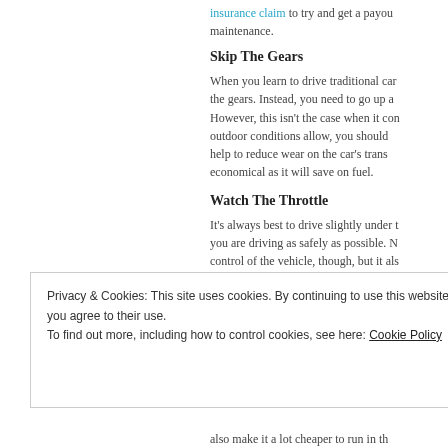insurance claim to try and get a payout maintenance.
Skip The Gears
When you learn to drive traditional car the gears. Instead, you need to go up a However, this isn't the case when it con outdoor conditions allow, you should help to reduce wear on the car's trans economical as it will save on fuel.
Watch The Throttle
It's always best to drive slightly under t you are driving as safely as possible. N control of the vehicle, though, but it als electricity. This is especially important v You should let the momentum of the s pushing the throttle. However, always also make it a lot cheaper to run in th
Privacy & Cookies: This site uses cookies. By continuing to use this website, you agree to their use.
To find out more, including how to control cookies, see here: Cookie Policy
Close and accept